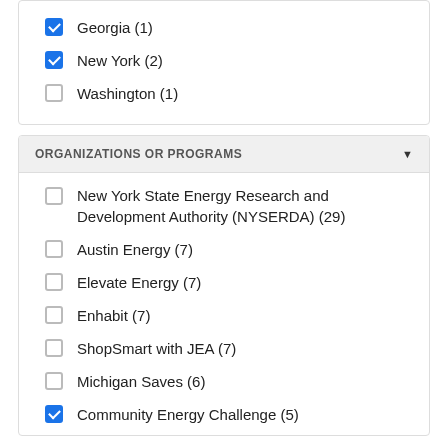Georgia (1)
New York (2)
Washington (1)
ORGANIZATIONS OR PROGRAMS
New York State Energy Research and Development Authority (NYSERDA) (29)
Austin Energy (7)
Elevate Energy (7)
Enhabit (7)
ShopSmart with JEA (7)
Michigan Saves (6)
Community Energy Challenge (5)